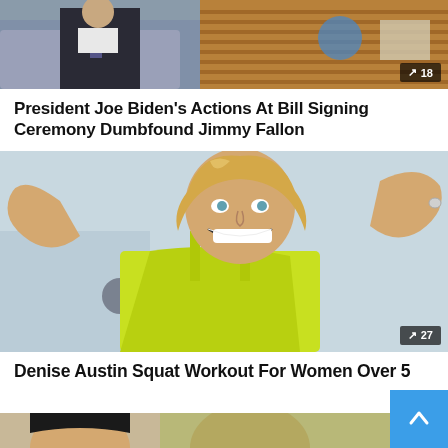[Figure (photo): Man in dark suit sitting in talk show set with blue/purple chairs and wooden desk backdrop]
President Joe Biden's Actions At Bill Signing Ceremony Dumbfound Jimmy Fallon
[Figure (photo): Blond woman in green/yellow athletic top flexing both arms and smiling, fitness photo]
Denise Austin Squat Workout For Women Over 50
[Figure (photo): Partial image at bottom of page, two people visible]